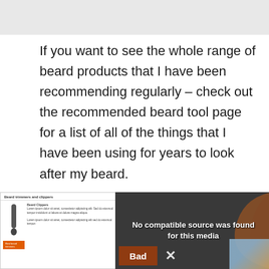If you want to see the whole range of beard products that I have been recommending regularly – check out the recommended beard tool page for a list of all of the things that I have been using for years to look after my beard.
[Figure (screenshot): Screenshot of a beard trimmers and clippers page showing a product image of a beard trimmer and some text, partially overlaid by a video player with 'No compatible source was found for this media' message and overlay UI elements including 'Bad' button and X close button, with an orange curved graphic and a thumbnail image.]